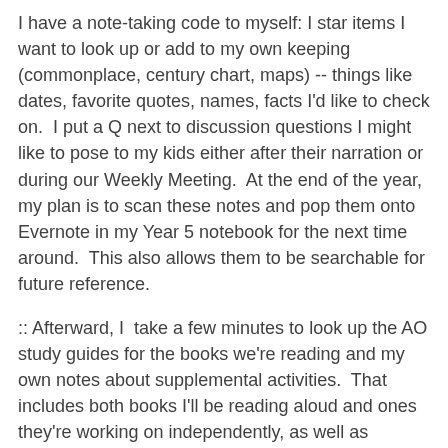I have a note-taking code to myself: I star items I want to look up or add to my own keeping (commonplace, century chart, maps) -- things like dates, favorite quotes, names, facts I'd like to check on.  I put a Q next to discussion questions I might like to pose to my kids either after their narration or during our Weekly Meeting.  At the end of the year, my plan is to scan these notes and pop them onto Evernote in my Year 5 notebook for the next time around.  This also allows them to be searchable for future reference.
:: Afterward, I  take a few minutes to look up the AO study guides for the books we're reading and my own notes about supplemental activities.  That includes both books I'll be reading aloud and ones they're working on independently, as well as assignments for my Form I students.  For Year 5, I check a list of some experiments we're doing alongside Christian Liberty Nature Reader (I'd pull the required materials), the Madam How Lady Why study guide (I highlight in Evernote any discussion points I want to raise), any photos I want to view for the Book of Marvels, and so on.  I also put a post-it on the illustrations I want to use alongside